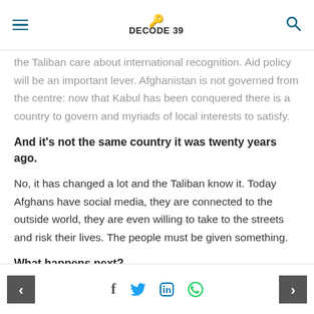Decode 39
the Taliban care about international recognition. Aid policy will be an important lever. Afghanistan is not governed from the centre: now that Kabul has been conquered there is a country to govern and myriads of local interests to satisfy.
And it's not the same country it was twenty years ago.
No, it has changed a lot and the Taliban know it. Today Afghans have social media, they are connected to the outside world, they are even willing to take to the streets and risk their lives. The people must be given something.
What happens next?
In the very short term we are in the hands of the
< f t in WhatsApp >